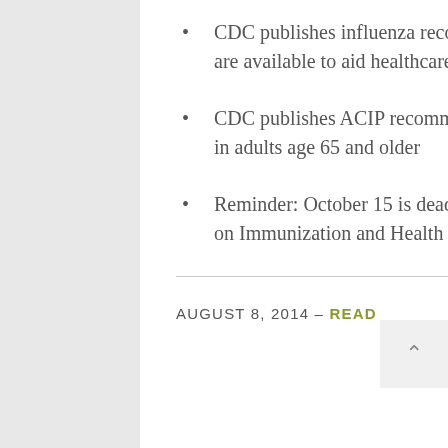CDC publishes influenza recommendations for 2014–15 season; many resources are available to aid healthcare professionals in vaccinating their patients
CDC publishes ACIP recommendations for use of PCV13 and PPSV23 vaccines in adults age 65 and older
Reminder: October 15 is deadline to apply to host the 2016 National Conference on Immunization and Health Coalitions
AUGUST 8, 2014 – READ